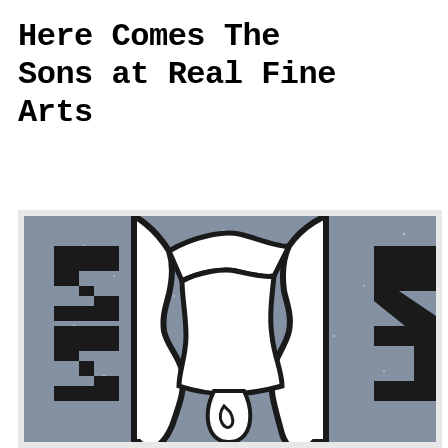Here Comes The Sons at Real Fine Arts
[Figure (illustration): Cropped artwork showing two abstract white outlined face profiles facing each other, outlined in thick black lines against a grey speckled/textured background, with black angular bracket-like shapes on the left and right edges]